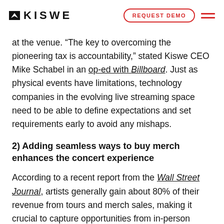KISWE | REQUEST DEMO
at the venue. “The key to overcoming the pioneering tax is accountability,” stated Kiswe CEO Mike Schabel in an op-ed with Billboard. Just as physical events have limitations, technology companies in the evolving live streaming space need to be able to define expectations and set requirements early to avoid any mishaps.
2) Adding seamless ways to buy merch enhances the concert experience
According to a recent report from the Wall Street Journal, artists generally gain about 80% of their revenue from tours and merch sales, making it crucial to capture opportunities from in-person